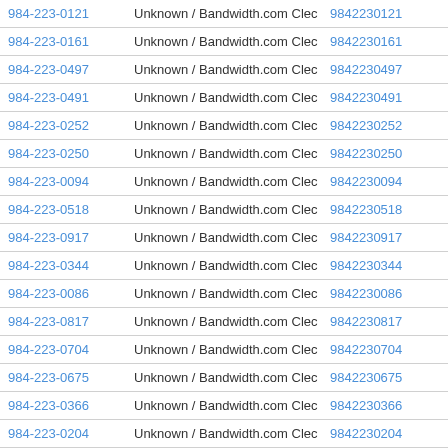| Phone | Carrier | Number |  |
| --- | --- | --- | --- |
| 984-223-0121 | Unknown / Bandwidth.com Clec | 9842230121 | Vie |
| 984-223-0161 | Unknown / Bandwidth.com Clec | 9842230161 | Vie |
| 984-223-0497 | Unknown / Bandwidth.com Clec | 9842230497 | Vie |
| 984-223-0491 | Unknown / Bandwidth.com Clec | 9842230491 | Vie |
| 984-223-0252 | Unknown / Bandwidth.com Clec | 9842230252 | Vie |
| 984-223-0250 | Unknown / Bandwidth.com Clec | 9842230250 | Vie |
| 984-223-0094 | Unknown / Bandwidth.com Clec | 9842230094 | Vie |
| 984-223-0518 | Unknown / Bandwidth.com Clec | 9842230518 | Vie |
| 984-223-0917 | Unknown / Bandwidth.com Clec | 9842230917 | Vie |
| 984-223-0344 | Unknown / Bandwidth.com Clec | 9842230344 | Vie |
| 984-223-0086 | Unknown / Bandwidth.com Clec | 9842230086 | Vie |
| 984-223-0817 | Unknown / Bandwidth.com Clec | 9842230817 | Vie |
| 984-223-0704 | Unknown / Bandwidth.com Clec | 9842230704 | Vie |
| 984-223-0675 | Unknown / Bandwidth.com Clec | 9842230675 | Vie |
| 984-223-0366 | Unknown / Bandwidth.com Clec | 9842230366 | Vie |
| 984-223-0204 | Unknown / Bandwidth.com Clec | 9842230204 | Vie |
| 984-223-0804 | Unknown / Bandwidth.com Clec | 9842230804 | Vie |
| 984-223-0505 | Unknown / Bandwidth.com Clec | 9842230505 | Vie |